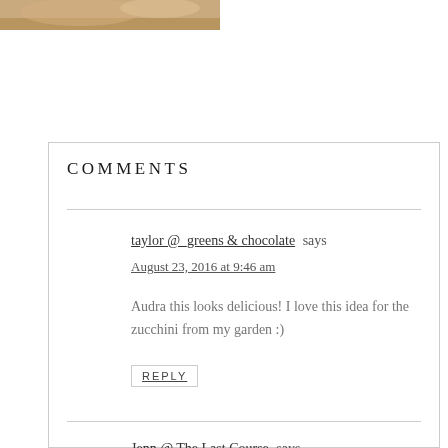[Figure (photo): Partial view of a food photo at the top of the page, showing what appears to be a baked dish on a plate]
COMMENTS
taylor @_greens & chocolate says
August 23, 2016 at 9:46 am
Audra this looks delicious! I love this idea for the zucchini from my garden :)
REPLY
Jenn @ The Last Course says